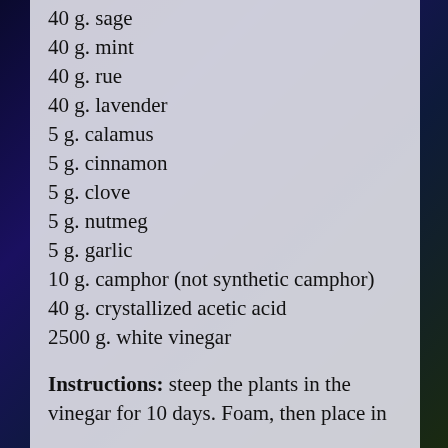40 g. sage
40 g. mint
40 g. rue
40 g. lavender
5 g. calamus
5 g. cinnamon
5 g. clove
5 g. nutmeg
5 g. garlic
10 g. camphor (not synthetic camphor)
40 g. crystallized acetic acid
2500 g. white vinegar
Instructions: steep the plants in the vinegar for 10 days. Foam, then…